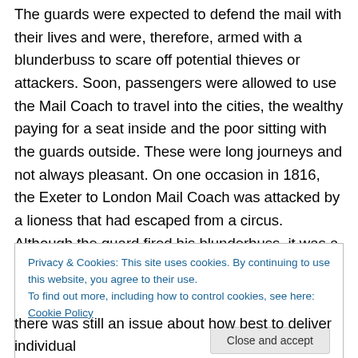The guards were expected to defend the mail with their lives and were, therefore, armed with a blunderbuss to scare off potential thieves or attackers. Soon, passengers were allowed to use the Mail Coach to travel into the cities, the wealthy paying for a seat inside and the poor sitting with the guards outside. These were long journeys and not always pleasant. On one occasion in 1816, the Exeter to London Mail Coach was attacked by a lioness that had escaped from a circus. Although the guard fired his blunderbuss, it was a Newfoundland dog that eventually scared off the beast.
Privacy & Cookies: This site uses cookies. By continuing to use this website, you agree to their use. To find out more, including how to control cookies, see here: Cookie Policy
there was still an issue about how best to deliver individual